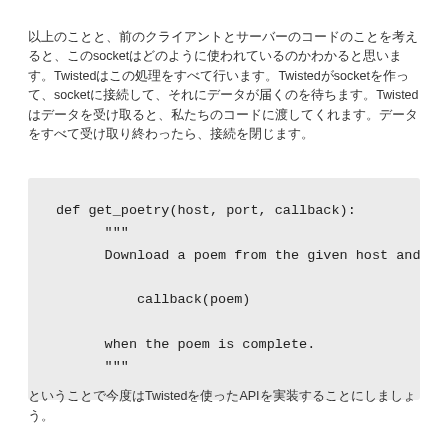以上のことと、前のクライアントとサーバーのコードのことを考えると、このsocketはどのように使われているのかわかると思います。Twistedはこの処理をすべて行います。Twistedがsocketを作って、socketに接続して、それにデータが届くのを待ちます。Twistedはデータを受け取ると、私たちのコードに渡してくれます。データをすべて受け取り終わったら、接続を閉じます。
[Figure (screenshot): Python code block showing def get_poetry(host, port, callback) function with docstring: Download a poem from the given host and callback(poem) when the poem is complete.]
ということで今度はTwistedを使ったAPIを実装することにしましょう。